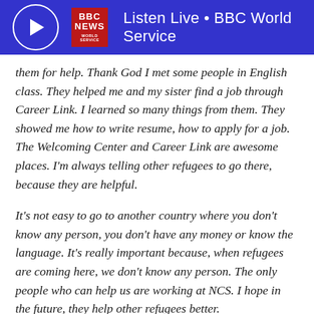Listen Live • BBC World Service
them for help. Thank God I met some people in English class. They helped me and my sister find a job through Career Link. I learned so many things from them. They showed me how to write resume, how to apply for a job. The Welcoming Center and Career Link are awesome places. I'm always telling other refugees to go there, because they are helpful.
It's not easy to go to another country where you don't know any person, you don't have any money or know the language. It's really important because, when refugees are coming here, we don't know any person. The only people who can help us are working at NCS. I hope in the future, they help other refugees better.